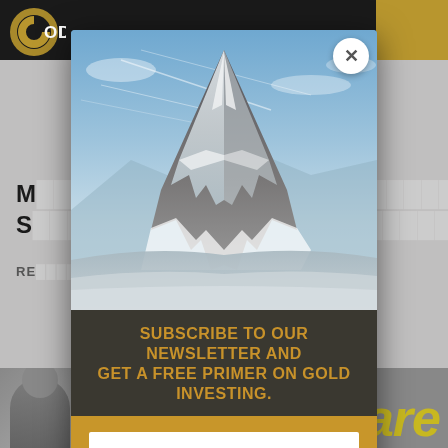[Figure (screenshot): Background page of a gold investing website with dark navigation bar, gold logo (circle with G), partial heading text 'M... R S...' and 'RE' label visible behind popup overlay]
[Figure (photo): Popup modal overlay with a mountain (Matterhorn-style) photograph at top, dark text band with newsletter subscription message, gold section with email input field and subscribe button, and an X close button in top right corner]
SUBSCRIBE TO OUR NEWSLETTER AND GET A FREE PRIMER ON GOLD INVESTING.
you@example.com
SUBSCRIBE
Beware